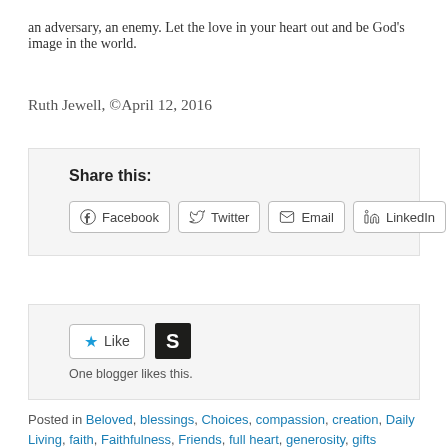an adversary, an enemy. Let the love in your heart out and be God's image in the world.
Ruth Jewell, ©April 12, 2016
[Figure (screenshot): Share this: box with social sharing buttons for Facebook, Twitter, Email, and LinkedIn]
[Figure (screenshot): Like button with a blue star, Scribd S logo, and text 'One blogger likes this.']
Posted in Beloved, blessings, Choices, compassion, creation, Daily Living, faith, Faithfulness, Friends, full heart, generosity, gifts